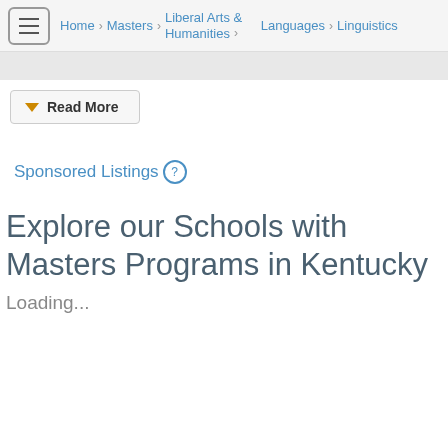Home > Masters > Liberal Arts & Humanities > Languages > Linguistics
Read More
Sponsored Listings
Explore our Schools with Masters Programs in Kentucky
Loading...